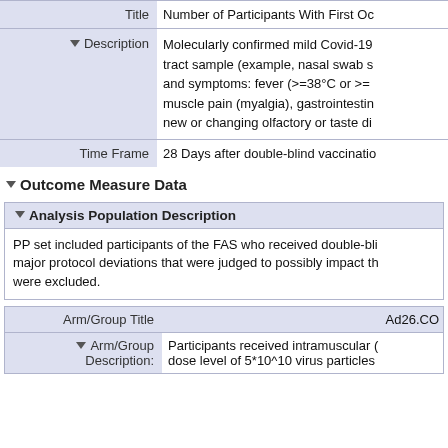| Label | Value |
| --- | --- |
| Title | Number of Participants With First Oc... |
| Description | Molecularly confirmed mild Covid-19... tract sample (example, nasal swab s... and symptoms: fever (>=38°C or >=... muscle pain (myalgia), gastrointesti... new or changing olfactory or taste di... |
| Time Frame | 28 Days after double-blind vaccinati... |
Outcome Measure Data
Analysis Population Description
PP set included participants of the FAS who received double-bli... major protocol deviations that were judged to possibly impact th... were excluded.
| Label | Value |
| --- | --- |
| Arm/Group Title | Ad26.CO... |
| Arm/Group Description: | Participants received intramuscular (... dose level of 5*10^10 virus particles... |